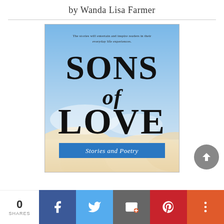by Wanda Lisa Farmer
[Figure (illustration): Book cover for 'Sons of Love: Stories and Poetry' by Wanda Lisa Farmer. Sky and clouds background with large bold title text. Tagline reads: The stories will entertain and inspire readers in their everyday life experiences. Blue banner at bottom reads: Stories and Poetry.]
0 SHARES